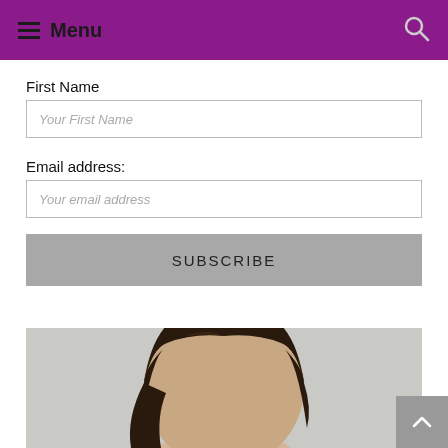☰ Menu
First Name
Your First Name
Email address:
Your email address
SUBSCRIBE
[Figure (photo): Partial view of a person with dark hair against a light gray background, showing the top and side of the head]